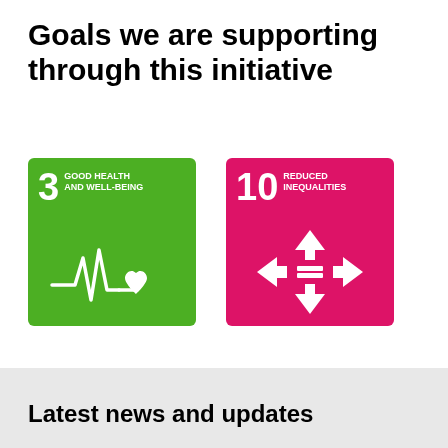Goals we are supporting through this initiative
[Figure (infographic): UN SDG Goal 3 - Good Health and Well-Being: green square badge with number 3, title text, and ECG/heartbeat line with heart icon]
[Figure (infographic): UN SDG Goal 10 - Reduced Inequalities: pink/magenta square badge with number 10, title text, and directional arrows with equality lines icon]
Latest news and updates